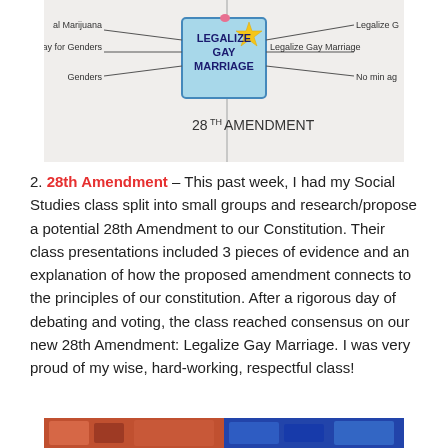[Figure (photo): Photo of a whiteboard showing a mind map with 'LEGALIZE GAY MARRIAGE' in the center on a blue card with a star, with branches showing topics like 'Equal Pay for Genders', 'Legalize Gay Marriage', 'al Marijuana', 'Genders', 'No min ag', 'Legalize G', and text '28TH AMENDMENT' at the bottom.]
2. 28th Amendment – This past week, I had my Social Studies class split into small groups and research/propose a potential 28th Amendment to our Constitution. Their class presentations included 3 pieces of evidence and an explanation of how the proposed amendment connects to the principles of our constitution. After a rigorous day of debating and voting, the class reached consensus on our new 28th Amendment: Legalize Gay Marriage. I was very proud of my wise, hard-working, respectful class!
[Figure (photo): Partial photo at the bottom of the page showing colorful images, partially cut off.]